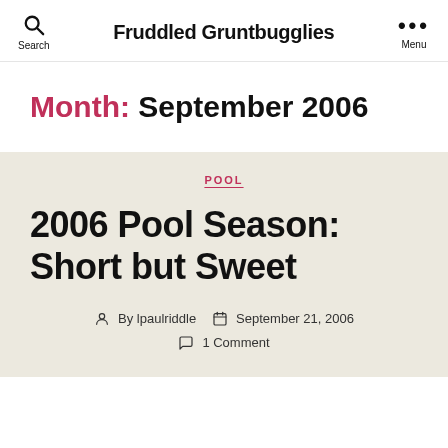Fruddled Gruntbugglies
Month: September 2006
POOL
2006 Pool Season: Short but Sweet
By lpaulriddle  September 21, 2006  1 Comment